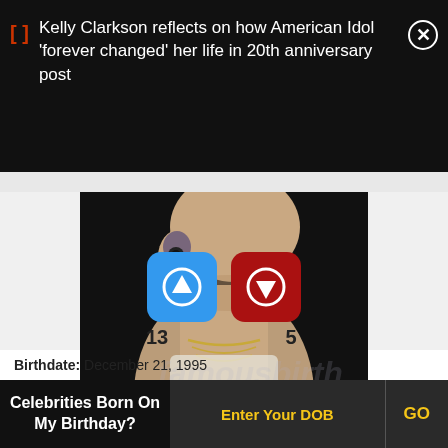Kelly Clarkson reflects on how American Idol 'forever changed' her life in 20th anniversary post
[Figure (photo): Close-up photo of a person from chin/neck up, wearing a white sleeveless top and gold chain necklace, with an in-ear monitor visible, against a dark/black background.]
Birthdate: December 21, 1995
13
5
Celebrities Born On My Birthday?
Enter Your DOB
GO